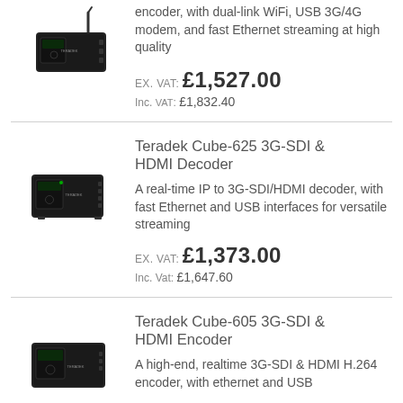encoder, with dual-link WiFi, USB 3G/4G modem, and fast Ethernet streaming at high quality
Ex. VAT: £1,527.00
Inc. VAT: £1,832.40
Teradek Cube-625 3G-SDI & HDMI Decoder
[Figure (photo): Teradek Cube-625 3G-SDI & HDMI Decoder device photo]
A real-time IP to 3G-SDI/HDMI decoder, with fast Ethernet and USB interfaces for versatile streaming
Ex. VAT: £1,373.00
Inc. VAT: £1,647.60
Teradek Cube-605 3G-SDI & HDMI Encoder
[Figure (photo): Teradek Cube-605 3G-SDI & HDMI Encoder device photo]
A high-end, realtime 3G-SDI & HDMI H.264 encoder, with ethernet and USB